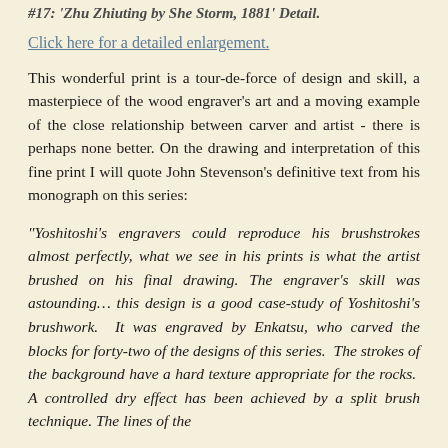#17: 'Zhu Zhiuting by She Storm, 1881' Detail.
Click here for a detailed enlargement.
This wonderful print is a tour-de-force of design and skill, a masterpiece of the wood engraver's art and a moving example of the close relationship between carver and artist - there is perhaps none better. On the drawing and interpretation of this fine print I will quote John Stevenson's definitive text from his monograph on this series:
"Yoshitoshi's engravers could reproduce his brushstrokes almost perfectly, what we see in his prints is what the artist brushed on his final drawing. The engraver's skill was astounding… this design is a good case-study of Yoshitoshi's brushwork.  It was engraved by Enkatsu, who carved the blocks for forty-two of the designs of this series.  The strokes of the background have a hard texture appropriate for the rocks.  A controlled dry effect has been achieved by a split brush technique. The lines of the